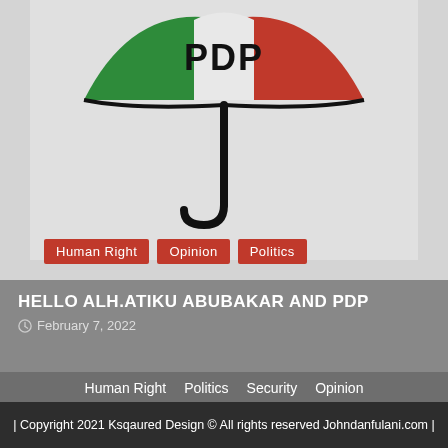[Figure (logo): PDP (Peoples Democratic Party) umbrella logo with green left panel, red right panel, white center with PDP text in black, and black umbrella handle]
Human Right
Opinion
Politics
HELLO ALH.ATIKU ABUBAKAR AND PDP
February 7, 2022
Human Right   Politics   Security   Opinion
| Copyright 2021 Ksqaured Design © All rights reserved Johndanfulani.com |